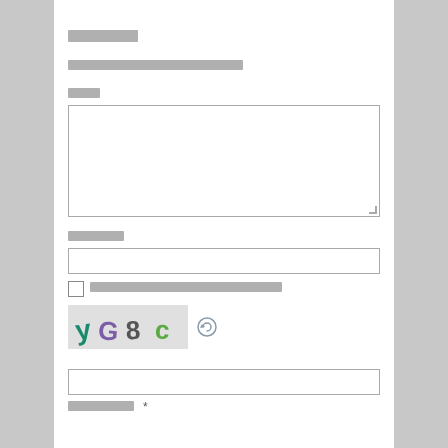[redacted heading]
[redacted subtext]
[redacted label - comment/message field]
[redacted label - name/email field]
[redacted checkbox label]
[Figure (other): CAPTCHA image showing text 'yG8 c' with colored letters on light gray background, with a refresh/reload icon]
[redacted input field label with asterisk - required field]